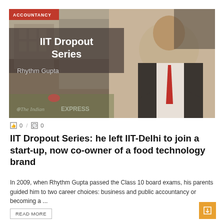[Figure (photo): IIT Dropout Series banner image with Rhythm Gupta text overlay. A man in suit and red tie on right side, building in background on left. The Indian Express logo at bottom left. Red ACCOUNTANCY badge at top left.]
0 / 0
IIT Dropout Series: he left IIT-Delhi to join a start-up, now co-owner of a food technology brand
In 2009, when Rhythm Gupta passed the Class 10 board exams, his parents guided him to two career choices: business and public accountancy or becoming a ...
READ MORE